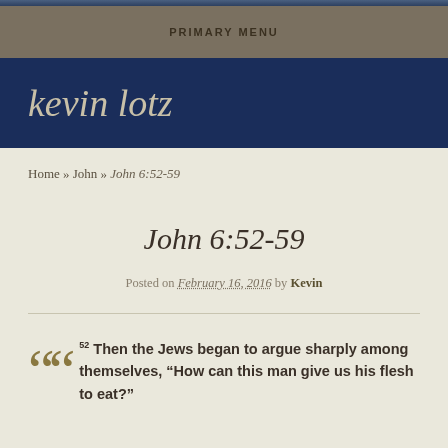PRIMARY MENU
kevin lotz
Home » John » John 6:52-59
John 6:52-59
Posted on February 16, 2016 by Kevin
52 Then the Jews began to argue sharply among themselves, "How can this man give us his flesh to eat?"